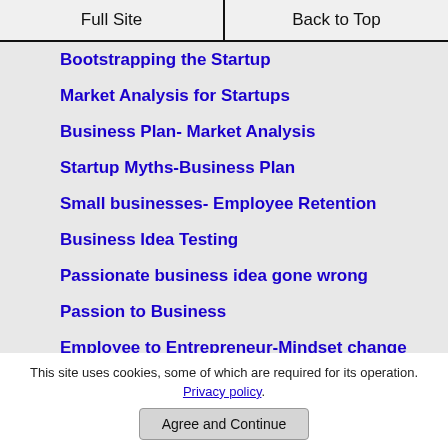Full Site | Back to Top
Bootstrapping the Startup
Market Analysis for Startups
Business Plan- Market Analysis
Startup Myths-Business Plan
Small businesses- Employee Retention
Business Idea Testing
Passionate business idea gone wrong
Passion to Business
Employee to Entrepreneur-Mindset change
Ideas for Startup
Spouses as business partners
This site uses cookies, some of which are required for its operation. Privacy policy.
Agree and Continue